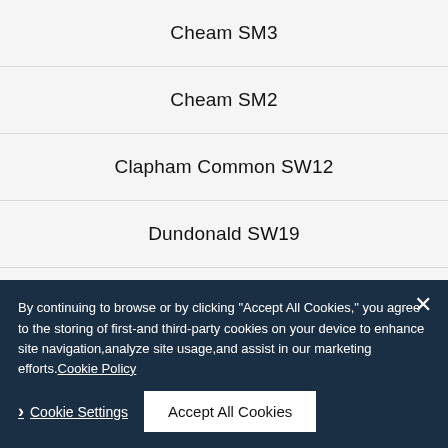Cheam SM3
Cheam SM2
Clapham Common SW12
Dundonald SW19
East Dulwich SE22
Grange SE1
By continuing to browse or by clicking "Accept All Cookies," you agree to the storing of first-and third-party cookies on your device to enhance site navigation,analyze site usage,and assist in our marketing efforts.Cookie Policy
> Cookie Settings  Accept All Cookies